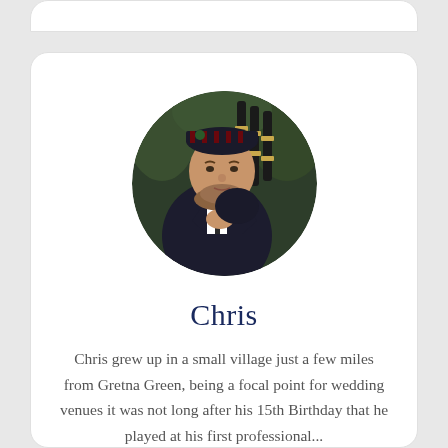[Figure (photo): Circular profile photo of a man named Chris wearing Scottish Highland dress (dark jacket, tartan cap) and holding bagpipes, with green foliage background.]
Chris
Chris grew up in a small village just a few miles from Gretna Green, being a focal point for wedding venues it was not long after his 15th Birthday that he played at his first professional...
Read more